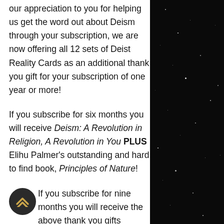our appreciation to you for helping us get the word out about Deism through your subscription, we are now offering all 12 sets of Deist Reality Cards as an additional thank you gift for your subscription of one year or more!

If you subscribe for six months you will receive Deism: A Revolution in Religion, A Revolution in You PLUS Elihu Palmer's outstanding and hard to find book, Principles of Nature!

If you subscribe for nine months you will receive the above thank you gifts